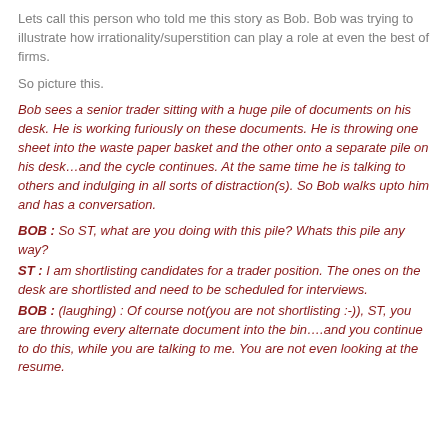Lets call this person who told me this story as Bob. Bob was trying to illustrate how irrationality/superstition can play a role at even the best of firms.
So picture this.
Bob sees a senior trader sitting with a huge pile of documents on his desk. He is working furiously on these documents. He is throwing one sheet into the waste paper basket and the other onto a separate pile on his desk…and the cycle continues. At the same time he is talking to others and indulging in all sorts of distraction(s). So Bob walks upto him and has a conversation.
BOB : So ST, what are you doing with this pile? Whats this pile any way?
ST : I am shortlisting candidates for a trader position. The ones on the desk are shortlisted and need to be scheduled for interviews.
BOB : (laughing) : Of course not(you are not shortlisting :-)), ST, you are throwing every alternate document into the bin….and you continue to do this, while you are talking to me. You are not even looking at the resume.